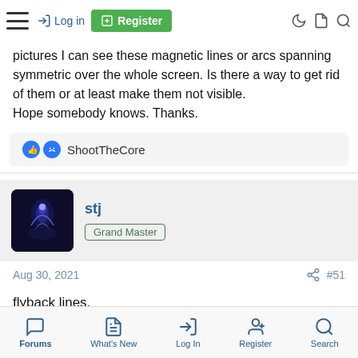Navigation bar with hamburger menu, Log in, Register, and icons
pictures I can see these magnetic lines or arcs spanning symmetric over the whole screen. Is there a way to get rid of them or at least make them not visible.
Hope somebody knows. Thanks.
👍 ShootTheCore
stj
Grand Master
Aug 30, 2021   #51
flyback lines,

the brightness is too high on the lopt


this threads a joke,
Forums   What's New   Log In   Register   Search